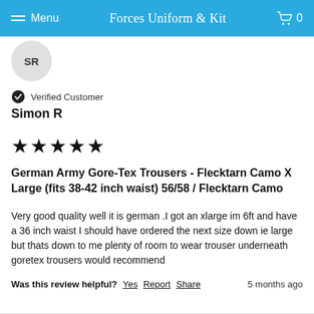Menu  Forces Uniform & Kit  0
SR
Verified Customer
Simon R
★★★★★
German Army Gore-Tex Trousers - Flecktarn Camo X Large (fits 38-42 inch waist) 56/58 / Flecktarn Camo
Very good quality well it is german .I got an xlarge im 6ft and have a 36 inch waist I should have ordered the next size down ie large but thats down to me plenty of room to wear trouser underneath goretex trousers would recommend
Was this review helpful? Yes Report Share    5 months ago